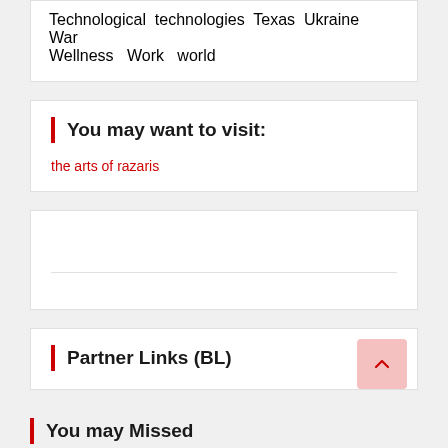Technological technologies Texas Ukraine War Wellness Work world
You may want to visit:
the arts of razaris
[Figure (other): Empty white widget box with a horizontal divider line near the bottom]
Partner Links (BL)
You may Missed